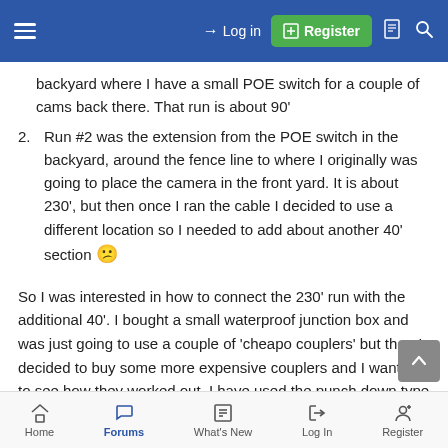Log in | Register (navigation bar)
backyard where I have a small POE switch for a couple of cams back there. That run is about 90'
Run #2 was the extension from the POE switch in the backyard, around the fence line to where I originally was going to place the camera in the front yard. It is about 230', but then once I ran the cable I decided to use a different location so I needed to add about another 40' section 😕
So I was interested in how to connect the 230' run with the additional 40'. I bought a small waterproof junction box and was just going to use a couple of 'cheapo couplers' but then I decided to buy some more expensive couplers and I wanted to see how they worked out. I have used the punch down type junction boxes in the past, but I didn't think they were worth the time and
Home | Forums | What's New | Log In | Register